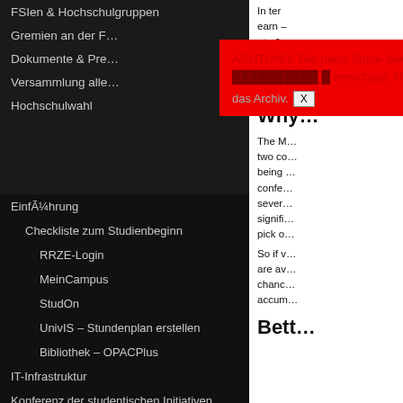FSIen & Hochschulgruppen
Gremien an der F…
Dokumente & Pre…
Versammlung alle…
Hochschulwahl
ACHTUNG: Die neue Stuve-Webseite ist unter [link] erreichbar. Hier ist nur noch das Archiv. X
Einführung
Checkliste zum Studienbeginn
RRZE-Login
MeinCampus
StudOn
UnivIS – Stundenplan erstellen
Bibliothek – OPACPlus
IT-Infrastruktur
Konferenz der studentischen Initiativen
In term… earn – at +0.… goals … 47% c… over 4…
Why…
The M… two co… being … confe… sever… signifi… pick o…
So if v… are av… chanc… accum…
Bett…